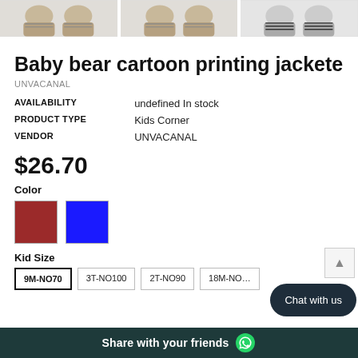[Figure (photo): Three product images of baby bear cartoon printing jackets displayed side by side at the top of the page]
Baby bear cartoon printing jackete
UNVACANAL
| AVAILABILITY | undefined In stock |
| PRODUCT TYPE | Kids Corner |
| VENDOR | UNVACANAL |
$26.70
Color
[Figure (other): Two color swatches: dark red/maroon and bright blue]
Kid Size
9M-NO70  3T-NO100  2T-NO90  18M-NO…
Share with your friends